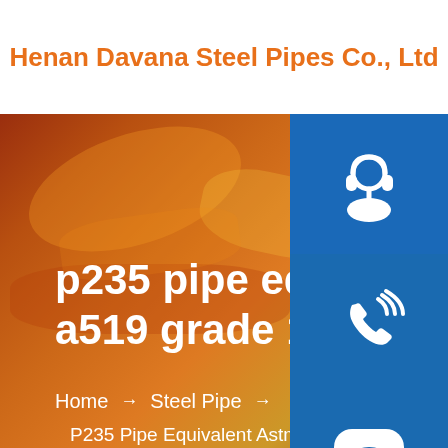Henan Davana Steel Pipes Co., Ltd
[Figure (screenshot): Dark navigation bar with hamburger menu icon (three horizontal white lines) on dark background]
[Figure (photo): Hot steel pipe manufacturing background image with orange and red glowing tones]
[Figure (illustration): Blue customer service icon button with headset/support icon]
[Figure (illustration): Blue phone/call icon button with wireless signal waves]
[Figure (illustration): Blue Skype icon button with letter S]
p235 pipe equivalent as a519 grade 1020 supplier
Home → Steel Pipe → P235 Pipe Equivalent Astm A519 Grade 1020 Supplier